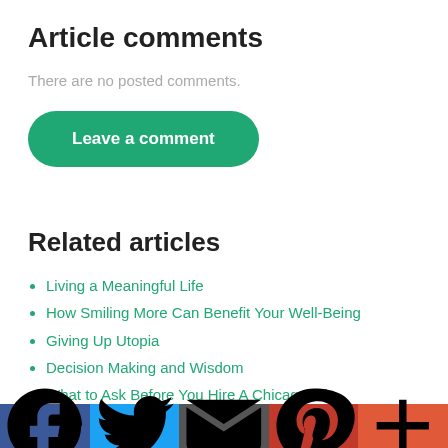Article comments
There are no posted comments.
[Figure (other): Green rounded button labeled 'Leave a comment']
Related articles
Living a Meaningful Life
How Smiling More Can Benefit Your Well-Being
Giving Up Utopia
Decision Making and Wisdom
What to Ask Before You Hire A Chicago Life Coach
7 Steps Goal Setting S... (partially visible)
[Figure (other): Social sharing bar with Facebook, Twitter, Email, Pinterest, and Plus buttons]